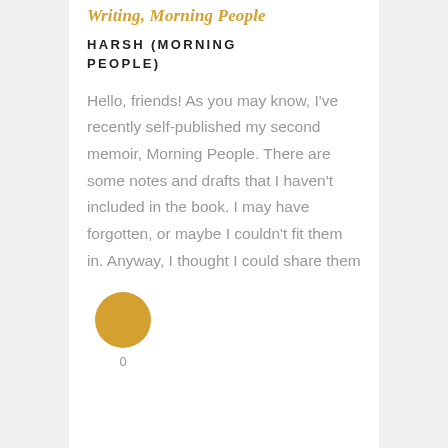Writing, Morning People
HARSH (MORNING PEOPLE)
Hello, friends! As you may know, I've recently self-published my second memoir, Morning People. There are some notes and drafts that I haven't included in the book. I may have forgotten, or maybe I couldn't fit them in. Anyway, I thought I could share them
[Figure (illustration): A golden/amber colored circular avatar icon with the number 0 below it]